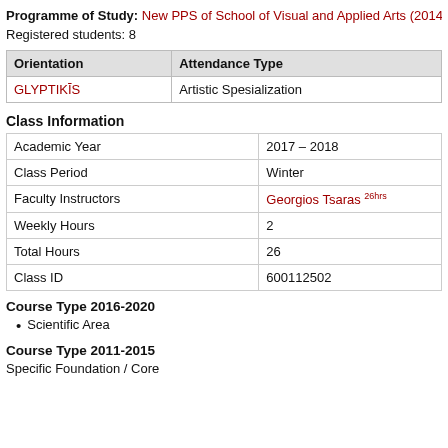Programme of Study: New PPS of School of Visual and Applied Arts (2014-...
Registered students: 8
| Orientation | Attendance Type |
| --- | --- |
| GLYPTIKĪS | Artistic Spesialization |
Class Information
| Academic Year | 2017 – 2018 |
| Class Period | Winter |
| Faculty Instructors | Georgios Tsaras 26hrs |
| Weekly Hours | 2 |
| Total Hours | 26 |
| Class ID | 600112502 |
Course Type 2016-2020
Scientific Area
Course Type 2011-2015
Specific Foundation / Core